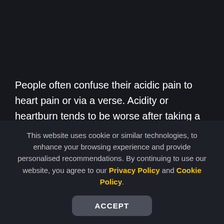People often confuse their acidic pain to heart pain or via a verse. Acidity or heartburn tends to be worse after taking a big meal or when one sleeps after eating. But heart attacks can happen after a meal or before a meal too. Acidity can be relieved by drugs that reduce acid levels in the stomach. Heartburn does not cause more general symptoms, such as breathlessness. But heart attacks need urgent medical
This website uses cookie or similar technologies, to enhance your browsing experience and provide personalised recommendations. By continuing to use our website, you agree to our Privacy Policy and Cookie Policy.